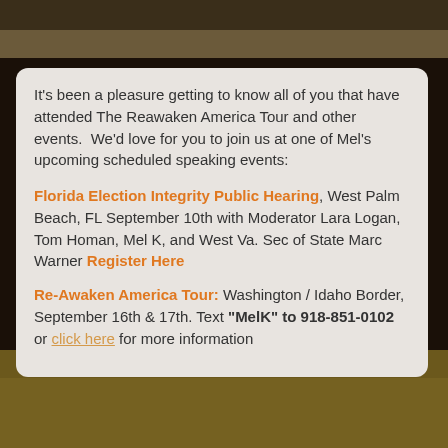It's been a pleasure getting to know all of you that have attended The Reawaken America Tour and other events. We'd love for you to join us at one of Mel's upcoming scheduled speaking events:
Florida Election Integrity Public Hearing, West Palm Beach, FL September 10th with Moderator Lara Logan, Tom Homan, Mel K, and West Va. Sec of State Marc Warner Register Here
Re-Awaken America Tour: Washington / Idaho Border, September 16th & 17th. Text "MelK" to 918-851-0102 or click here for more information